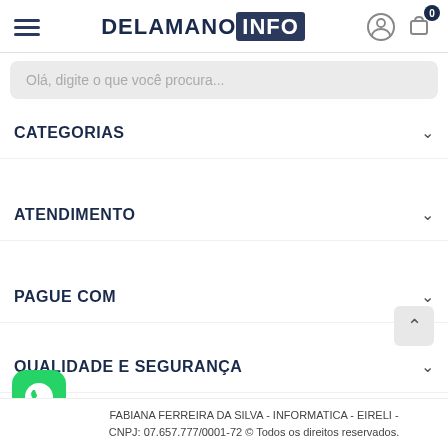DELAMANO INFO
Olá, digite o que você procura...
CATEGORIAS
ATENDIMENTO
PAGUE COM
QUALIDADE E SEGURANÇA
FABIANA FERREIRA DA SILVA - INFORMATICA - EIRELI - CNPJ: 07.657.777/0001-72 © Todos os direitos reservados.